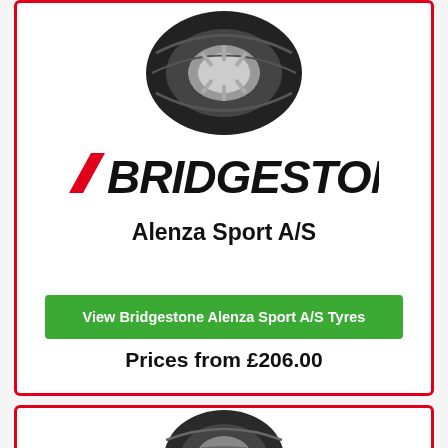[Figure (photo): Bridgestone Alenza Sport A/S tyre, top view on white background]
[Figure (logo): Bridgestone logo in black and red italic lettering]
Alenza Sport A/S
View Bridgestone Alenza Sport A/S Tyres
Prices from £206.00
[Figure (photo): Second tyre product image, partially visible at bottom of page]